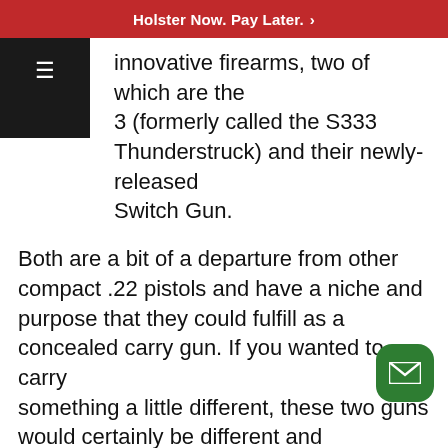Holster Now. Pay Later. ›
innovative firearms, two of which are the 3 (formerly called the S333 Thunderstruck) and their newly-released Switch Gun.
Both are a bit of a departure from other compact .22 pistols and have a niche and purpose that they could fulfill as a concealed carry gun. If you wanted to carry something a little different, these two guns would certainly be different and interesting.
But which would be better?
As with anything else, it depends on you